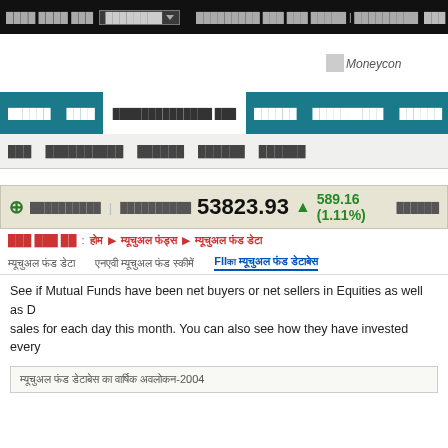Top navigation bar with search and dropdown
[Figure (screenshot): Moneycontrol logo partially visible at top right]
Main navigation: Markets, News, Mutual Funds (active), Stocks, Commodities, Watchlist, Portfolio Management, more
Sub navigation: MF, Mutual Fund Tools, Markets, Stocks, Others
53823.93 ▲ 589.16 (1.11%)
अभी देखें : होम ▶ म्यूचुअल फंड्स ▶ म्यूचुअल फंड डेटा
म्यूचुअल फंड डेटा    एनएवी म्यूचुअल फंड स्कीमें    FIIका म्यूचुअल फंड डेटाबेस
See if Mutual Funds have been net buyers or net sellers in Equities as well as Debt. Check the net purchases/sales for each day this month. You can also see how they have invested every
| म्यूचुअल फंड डेटाबेस का वार्षिक अवलोकन-2004 |
| --- |